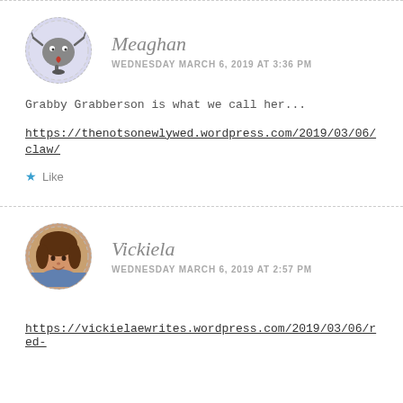[Figure (illustration): Avatar of Meaghan: cartoon gray round creature with red heart, inside a dashed circle border]
Meaghan
WEDNESDAY MARCH 6, 2019 AT 3:36 PM
Grabby Grabberson is what we call her...
https://thenotsonewlywed.wordpress.com/2019/03/06/claw/
Like
[Figure (photo): Avatar photo of Vickiela: woman with brown hair, outdoor background, inside a dashed circle border]
Vickiela
WEDNESDAY MARCH 6, 2019 AT 2:57 PM
https://vickielaewrites.wordpress.com/2019/03/06/red-